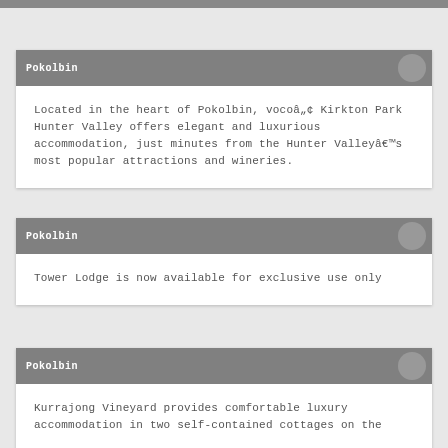Pokolbin
Located in the heart of Pokolbin, vocoâ„¢ Kirkton Park Hunter Valley offers elegant and luxurious accommodation, just minutes from the Hunter Valleyâ€™s most popular attractions and wineries.
Pokolbin
Tower Lodge is now available for exclusive use only
Pokolbin
Kurrajong Vineyard provides comfortable luxury accommodation in two self-contained cottages on the